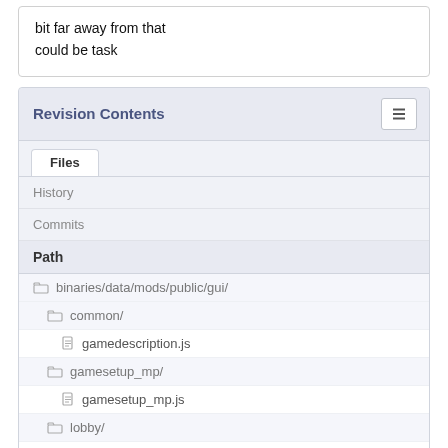bit far away from that
could be task
Revision Contents
Files
History
Commits
Path
binaries/data/mods/public/gui/
common/
gamedescription.js
gamesetup_mp/
gamesetup_mp.js
lobby/
lobby.js
options/